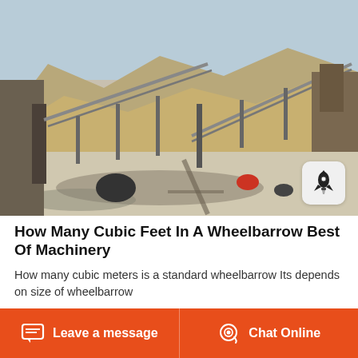[Figure (photo): Outdoor mining/quarry facility with industrial conveyor belts and crushing machinery set against arid rocky mountain background. Various metal structures, motors, and equipment visible on a gravel/sand surface.]
How Many Cubic Feet In A Wheelbarrow Best Of Machinery
How many cubic meters is a standard wheelbarrow Its depends on size of wheelbarrow
Leave a message   Chat Online